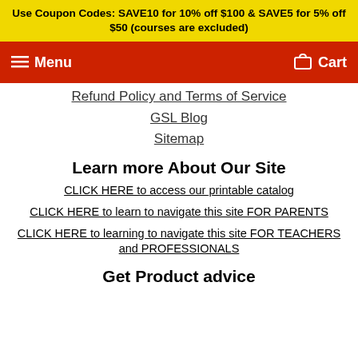Use Coupon Codes: SAVE10 for 10% off $100 & SAVE5 for 5% off $50 (courses are excluded)
Menu  Cart
Refund Policy and Terms of Service
GSL Blog
Sitemap
Learn more About Our Site
CLICK HERE to access our printable catalog
CLICK HERE to learn to navigate this site FOR PARENTS
CLICK HERE to learning to navigate this site FOR TEACHERS and PROFESSIONALS
Get Product advice